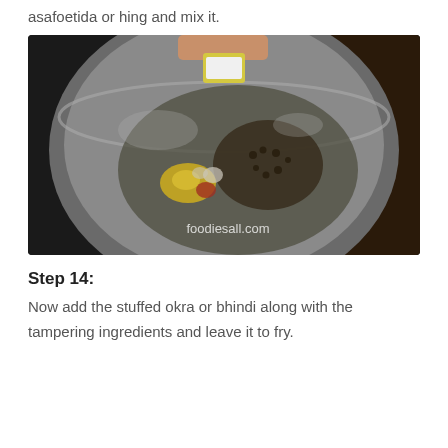asafoetida or hing and mix it.
[Figure (photo): Overhead view of a steel wok/pan with tampering ingredients including mustard seeds and turmeric pieces frying in oil, with a small container being held above. Watermark reads foodiesall.com]
Step 14:
Now add the stuffed okra or bhindi along with the tampering ingredients and leave it to fry.